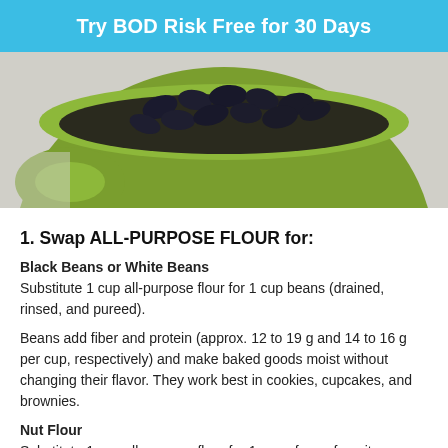Try BOD Risk Free for 30 Days
[Figure (photo): A green measuring cup filled with black beans on a light gray surface.]
1. Swap ALL-PURPOSE FLOUR for:
Black Beans or White Beans
Substitute 1 cup all-purpose flour for 1 cup beans (drained, rinsed, and pureed).
Beans add fiber and protein (approx. 12 to 19 g and 14 to 16 g per cup, respectively) and make baked goods moist without changing their flavor. They work best in cookies, cupcakes, and brownies.
Nut Flour
Substitute 1 cup all-purpose flour for 1 cup of your favorite